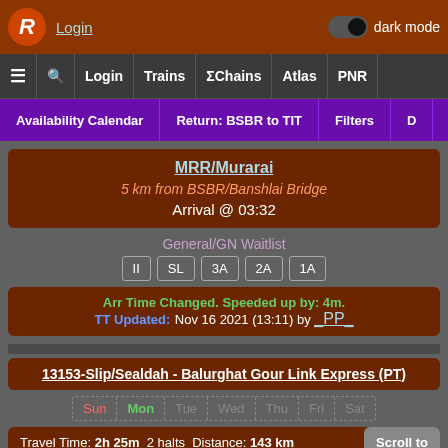Login | dark mode toggle | ☰ Q Login Trains ΣChains Atlas PNR
Availability Calendar | Return: BSBR to TIT | Filters | D
MRR/Murarai
5 km from BSBR/Banshlai Bridge
Arrival @ 03:32
General/GN Waitlist
II  SL  3A  2A  1A
Arr Time Changed. Speeded up by: 4m.
TT Updated: Nov 16 2021 (13:11) by _PP_
13153-Slip/Sealdah - Balurghat Gour Link Express (PT)
Sun Mon Tue Wed Thu Fri Sat
Travel Time: 2h 25m  2 halts  Distance: 143 km
Scroll to
Scroll to
RWN/Barddhaman, In...